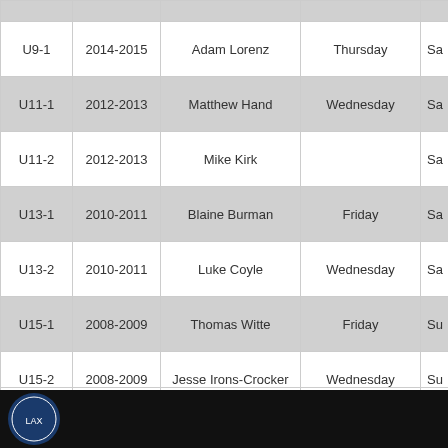|  |  |  |  | Sa… |
| --- | --- | --- | --- | --- |
| U9-1 | 2014-2015 | Adam Lorenz | Thursday | Sa… |
| U11-1 | 2012-2013 | Matthew Hand | Wednesday | Sa… |
| U11-2 | 2012-2013 | Mike Kirk |  | Sa… |
| U13-1 | 2010-2011 | Blaine Burman | Friday | Sa… |
| U13-2 | 2010-2011 | Luke Coyle | Wednesday | Sa… |
| U15-1 | 2008-2009 | Thomas Witte | Friday | Su… |
| U15-2 | 2008-2009 | Jesse Irons-Crocker | Wednesday | Su… |
| U17-1 | 2006-2007 | Paul Falkiner | Tuesday & Thursday | Su… |
*OCS - Orangeville Christian School